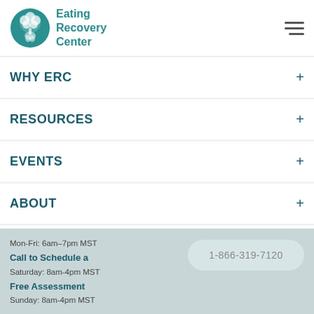[Figure (logo): Eating Recovery Center logo with teal tree/person icon and teal text reading Eating Recovery Center]
WHY ERC
RESOURCES
EVENTS
ABOUT
7351 E. Lowry Blvd, Ste 200
Denver, CO 80230
Call 1-866-319-7120 to talk to a masters-level clinician.
Mon-Fri: 6am–7pm MST
Call to Schedule a
Saturday: 8am-4pm MST
Free Assessment
Sunday: 8am-4pm MST
1-866-319-7120